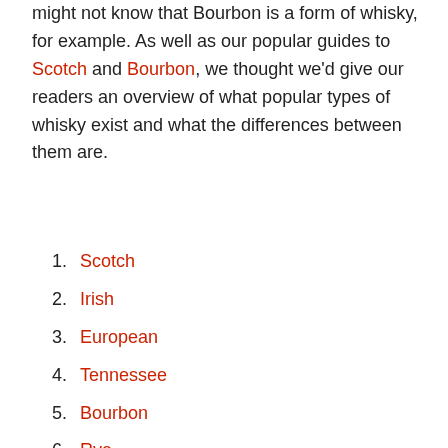might not know that Bourbon is a form of whisky, for example. As well as our popular guides to Scotch and Bourbon, we thought we'd give our readers an overview of what popular types of whisky exist and what the differences between them are.
1. Scotch
2. Irish
3. European
4. Tennessee
5. Bourbon
6. Rye
7. Japanese